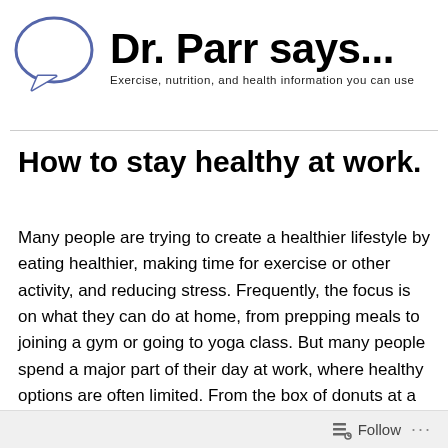[Figure (logo): Dr. Parr says... blog header with speech bubble icon and tagline: Exercise, nutrition, and health information you can use]
How to stay healthy at work.
Many people are trying to create a healthier lifestyle by eating healthier, making time for exercise or other activity, and reducing stress. Frequently, the focus is on what they can do at home, from prepping meals to joining a gym or going to yoga class. But many people spend a major part of their day at work, where healthy options are often limited. From the box of donuts at a morning meeting to a quick fast food lunch, eating well at work can be difficult.
Follow ...